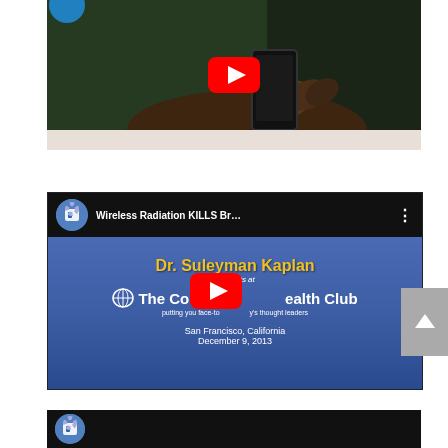[Figure (screenshot): YouTube video thumbnail showing a person (in green shirt) holding a smartphone, with a YouTube play button overlay in the center. This is the first of three YouTube video thumbnails on the page.]
[Figure (screenshot): YouTube video embed showing a presentation slide. The title reads 'Wireless Radiation KILLS Br...' in the header. The slide shows 'Dr. Suleyman Kaplan presents at The Commonwealth Club San Francisco, California December 9, 2013'. A YouTube play button overlay appears in the center. There is a scroll-up arrow button on the right side.]
[Figure (screenshot): Partial YouTube video thumbnail at the bottom of the page, showing only the header strip with a circular avatar icon.]